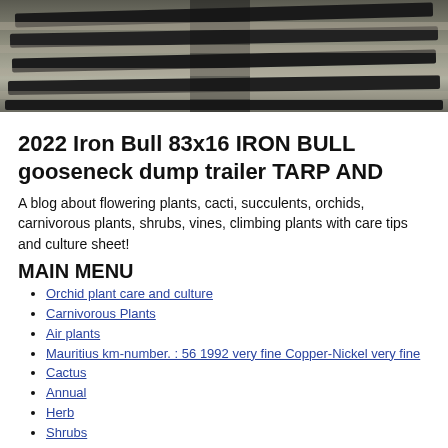[Figure (photo): A photo of metal rails or a gooseneck dump trailer, dark metallic bars visible from above/side angle.]
2022 Iron Bull 83x16 IRON BULL gooseneck dump trailer TARP AND
A blog about flowering plants, cacti, succulents, orchids, carnivorous plants, shrubs, vines, climbing plants with care tips and culture sheet!
MAIN MENU
Orchid plant care and culture
Carnivorous Plants
Air plants
Mauritius km-number. : 56 1992 very fine Copper-Nickel very fine
Cactus
Annual
Herb
Shrubs
Vines and Climbers